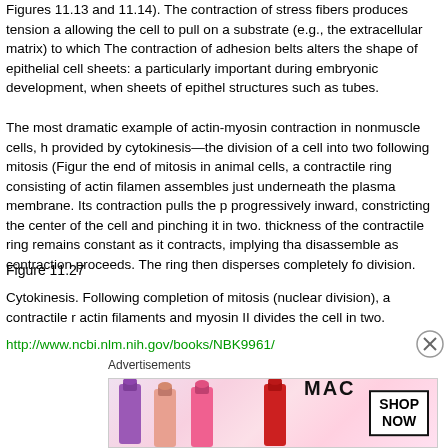Figures 11.13 and 11.14). The contraction of stress fibers produces tension allowing the cell to pull on a substrate (e.g., the extracellular matrix) to which it is attached. The contraction of adhesion belts alters the shape of epithelial cell sheets: a process that is particularly important during embryonic development, when sheets of epithelial cells fold into structures such as tubes.
The most dramatic example of actin-myosin contraction in nonmuscle cells, however, is provided by cytokinesis—the division of a cell into two following mitosis (Figure 11.27). At the end of mitosis in animal cells, a contractile ring consisting of actin filaments and myosin II assembles just underneath the plasma membrane. Its contraction pulls the plasma membrane progressively inward, constricting the center of the cell and pinching it in two. Interestingly, the thickness of the contractile ring remains constant as it contracts, implying that filaments must disassemble as contraction proceeds. The ring then disperses completely following cell division.
Figure 11.27
Cytokinesis. Following completion of mitosis (nuclear division), a contractile ring of actin filaments and myosin II divides the cell in two.
http://www.ncbi.nlm.nih.gov/books/NBK9961/
Advertisements
[Figure (photo): MAC cosmetics advertisement showing lipsticks with SHOP NOW call to action button]